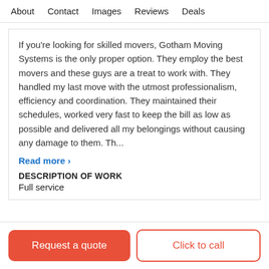About   Contact   Images   Reviews   Deals
If you're looking for skilled movers, Gotham Moving Systems is the only proper option. They employ the best movers and these guys are a treat to work with. They handled my last move with the utmost professionalism, efficiency and coordination. They maintained their schedules, worked very fast to keep the bill as low as possible and delivered all my belongings without causing any damage to them. Th...
Read more ›
DESCRIPTION OF WORK
Full service
Request a quote
Click to call